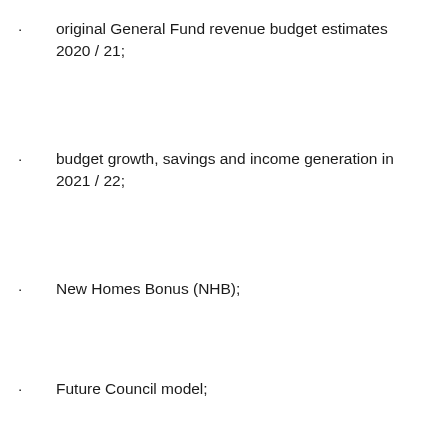original General Fund revenue budget estimates 2020/21;
budget growth, savings and income generation in 2021/22;
New Homes Bonus (NHB);
Future Council model;